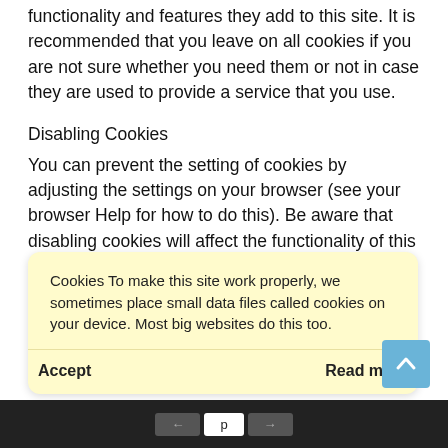functionality and features they add to this site. It is recommended that you leave on all cookies if you are not sure whether you need them or not in case they are used to provide a service that you use.
Disabling Cookies
You can prevent the setting of cookies by adjusting the settings on your browser (see your browser Help for how to do this). Be aware that disabling cookies will affect the functionality of this and many other websites that you visit. Disabling cookies will usually result in also disabling certain functionality and features of the this site. Therefore it is
Cookies To make this site work properly, we sometimes place small data files called cookies on your device. Most big websites do this too.
Accept
Read more